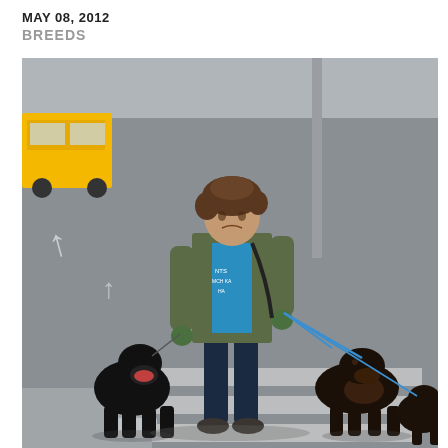MAY 08, 2012
BREEDS
[Figure (photo): A woman wearing a green jacket and blue hoodie with green gloves walks three dogs on leashes across a street crosswalk in an urban setting. A large black dog is on her left side and two darker dogs (including a Rottweiler) are on her right side held by blue leashes. A yellow taxi and gray street pole are visible in the background.]